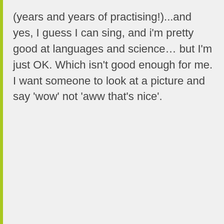(years and years of practising!)...and yes, I guess I can sing, and i'm pretty good at languages and science... but I'm just OK. Which isn't good enough for me. I want someone to look at a picture and say 'wow' not 'aww that's nice'.
sebastian MAY 8, 2009 Reply
Well for painting, you certainly need to keep at it, for years and years and YEARS! Painting's actually